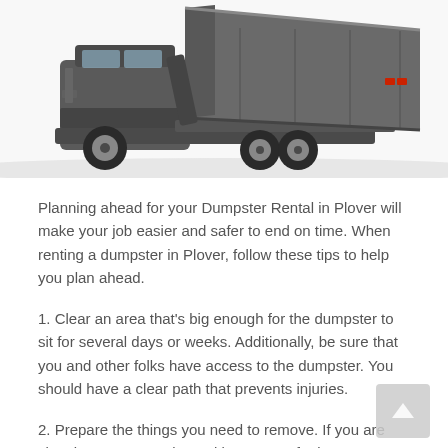[Figure (photo): A roll-off dumpster truck with a large gray container being tilted/loaded, photographed from the rear-side angle on a white background.]
Planning ahead for your Dumpster Rental in Plover will make your job easier and safer to end on time. When renting a dumpster in Plover, follow these tips to help you plan ahead.
1. Clear an area that's big enough for the dumpster to sit for several days or weeks. Additionally, be sure that you and other folks have access to the dumpster. You should have a clear path that prevents injuries.
2. Prepare the things you need to remove. If you are cleaning out a waterlogged basement, for instance, try to remove as much of the damaged stuff before the dumpster arrives.
3. Get any licenses you may need. If you plan to depart the dumpster on a public street, then you certainly might want...